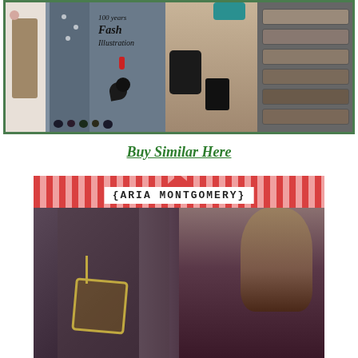[Figure (photo): A fashion collage featuring multiple photos: women in polka dot outfits, black accessories, shoes, a clutch bag, a text overlay reading '100 years Fashion Illustration', sunglasses display rack. Green border around the collage.]
Buy Similar Here
[Figure (photo): An Aria Montgomery themed collage with a red and white striped banner at the top with a triangle/bunting decoration and the text '{ARIA MONTGOMERY}' in monospace font. Below are two photos of the character Aria Montgomery from Pretty Little Liars, showing her in dark clothing with a large necklace.]